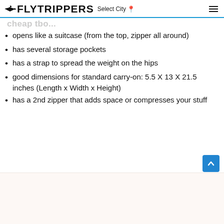FLYTRIPPERS Select City
opens like a suitcase (from the top, zipper all around)
has several storage pockets
has a strap to spread the weight on the hips
good dimensions for standard carry-on: 5.5 X 13 X 21.5 inches (Length x Width x Height)
has a 2nd zipper that adds space or compresses your stuff